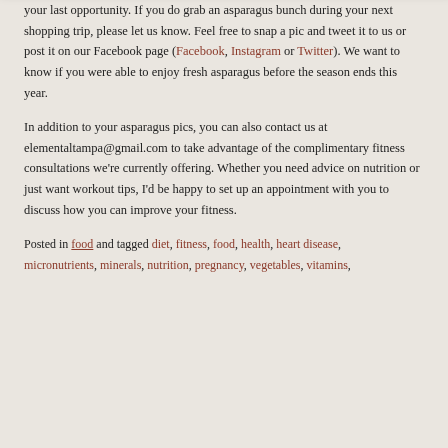your last opportunity. If you do grab an asparagus bunch during your next shopping trip, please let us know. Feel free to snap a pic and tweet it to us or post it on our Facebook page (Facebook, Instagram or Twitter). We want to know if you were able to enjoy fresh asparagus before the season ends this year.
In addition to your asparagus pics, you can also contact us at elementaltampa@gmail.com to take advantage of the complimentary fitness consultations we're currently offering. Whether you need advice on nutrition or just want workout tips, I'd be happy to set up an appointment with you to discuss how you can improve your fitness.
Posted in food and tagged diet, fitness, food, health, heart disease, micronutrients, minerals, nutrition, pregnancy, vegetables, vitamins,
Privacy & Cookies: This site uses cookies. By continuing to use this website, you agree to their use. To find out more, including how to control cookies, see here: Cookie Policy
Close and accept